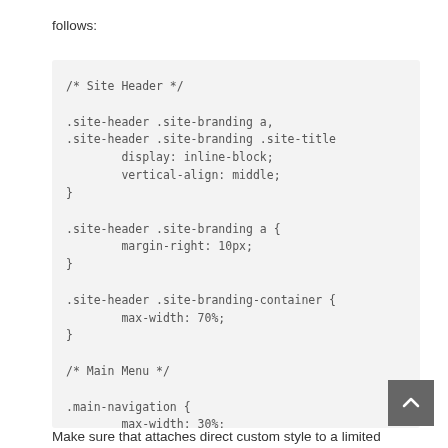follows:
/* Site Header */

.site-header .site-branding a,
.site-header .site-branding .site-title
        display: inline-block;
        vertical-align: middle;
}

.site-header .site-branding a {
        margin-right: 10px;
}

.site-header .site-branding-container {
        max-width: 70%;
}

/* Main Menu */

.main-navigation {
        max-width: 30%;
}
Make sure that attaches direct custom style to a limited